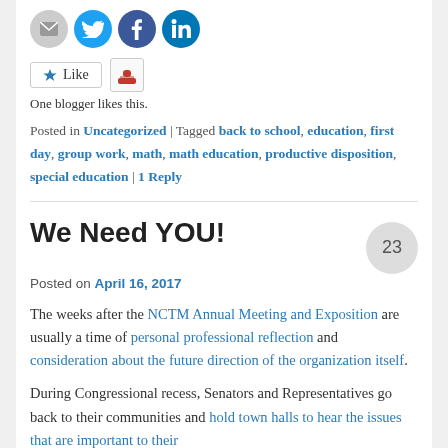[Figure (illustration): Row of social sharing icons: email (grey circle), Twitter (blue circle), Facebook (blue circle), LinkedIn (blue circle)]
[Figure (illustration): Like button with star icon and a small avatar/person icon button next to it]
One blogger likes this.
Posted in Uncategorized | Tagged back to school, education, first day, group work, math, math education, productive disposition, special education | 1 Reply
We Need YOU!
Posted on April 16, 2017
The weeks after the NCTM Annual Meeting and Exposition are usually a time of personal professional reflection and consideration about the future direction of the organization itself.
During Congressional recess, Senators and Representatives go back to their communities and hold town halls to hear the issues that are important to their